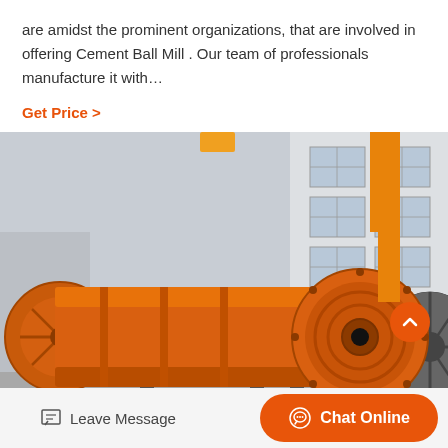are amidst the prominent organizations, that are involved in offering Cement Ball Mill . Our team of professionals manufacture it with…
Get Price  >
[Figure (photo): Photograph of a large orange cement ball mill industrial machine positioned in front of a factory building. The cylindrical orange mill dominates the image with support structures visible.]
Leave Message
Chat Online